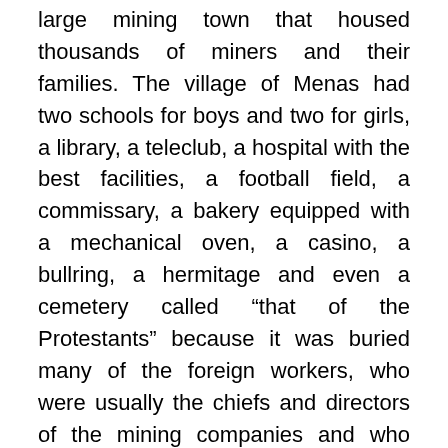large mining town that housed thousands of miners and their families. The village of Menas had two schools for boys and two for girls, a library, a teleclub, a hospital with the best facilities, a football field, a commissary, a bakery equipped with a mechanical oven, a casino, a bullring, a hermitage and even a cemetery called “that of the Protestants” because it was buried many of the foreign workers, who were usually the chiefs and directors of the mining companies and who lived in magnificent chalets, which although deteriorated, are still preserved.
We will finish this activity in the top of the mountain where the astronomical observatory of Calar Alto is, the most important in continental Europe.